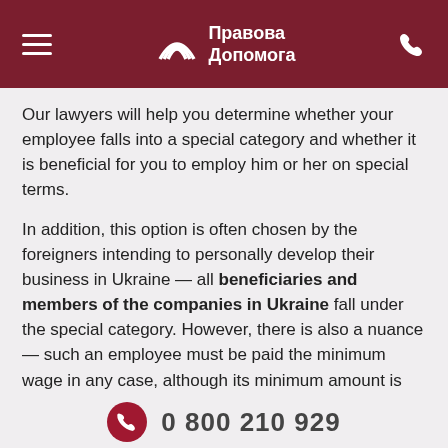Правова Допомога
Our lawyers will help you determine whether your employee falls into a special category and whether it is beneficial for you to employ him or her on special terms.
In addition, this option is often chosen by the foreigners intending to personally develop their business in Ukraine — all beneficiaries and members of the companies in Ukraine fall under the special category. However, there is also a nuance — such an employee must be paid the minimum wage in any case, although its minimum amount is not established.
Employment of a top manager as a
0 800 210 929